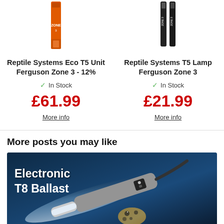[Figure (photo): Product image of Reptile Systems Eco T5 Unit Ferguson Zone 3 - 12%, showing an orange box with lamp]
Reptile Systems Eco T5 Unit Ferguson Zone 3 - 12%
✓ In Stock
£61.99
More info
[Figure (photo): Product image of Reptile Systems T5 Lamp Ferguson Zone 3, showing two black lamp tubes]
Reptile Systems T5 Lamp Ferguson Zone 3
✓ In Stock
£21.99
More info
More posts you may like
[Figure (photo): Blog post image showing an Electronic T8 Ballast with a grey ballast unit and a leopard gecko under a UV light strip on a dark blue background]